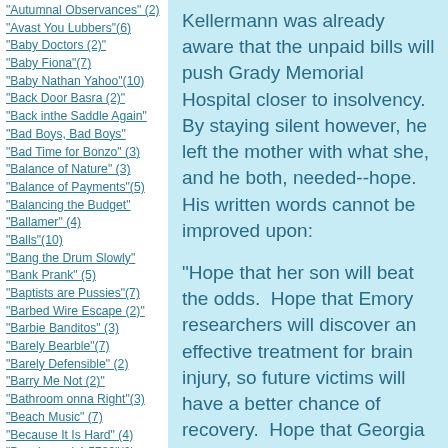"Autumnal Observances" (2)
"Avast You Lubbers"(6)
"Baby Doctors (2)"
"Baby Fiona"(7)
"Baby Nathan Yahoo"(10)
"Back Door Basra (2)"
"Back inthe Saddle Again"
"Bad Boys, Bad Boys"
"Bad Time for Bonzo" (3)
"Balance of Nature" (3)
"Balance of Payments"(5)
"Balancing the Budget"
"Ballamer" (4)
"Balls"(10)
"Bang the Drum Slowly"
"Bank Prank" (5)
"Baptists are Pussies"(7)
"Barbed Wire Escape (2)"
"Barbie Banditos" (3)
"Barely Bearble"(7)
"Barely Defensible" (2)
"Barry Me Not (2)"
"Bathroom onna Right"(3)
"Beach Music" (7)
"Because It Is Hard" (4)
"Beechwood 4-5789"(6)
"Belling the Cat" (2)
Kellermann was already aware that the unpaid bills will push Grady Memorial Hospital closer to insolvency.  By staying silent however, he left the mother with what she, and he both, needed--hope.  His written words cannot be improved upon:
"Hope that her son will beat the odds.  Hope that Emory researchers will discover an effective treatment for brain injury, so future victims will have a better chance of recovery.  Hope that Georgia will fund a statewide trauma network, so everyone can benefit from top-quality trauma